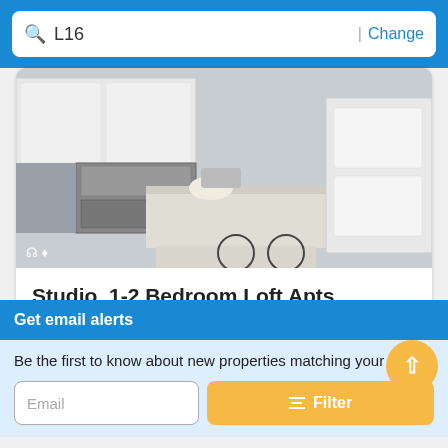L16  | Change
[Figure (photo): Interior photo of a modern apartment kitchen with white cabinets, stainless steel appliances including a microwave and stove, a kitchen island with light countertop, and a white door visible in the background.]
Studio, 1-2 Bedroom Loft Apts
Brookland Press Apts  Apply Now >
Get email alerts
Be the first to know about new properties matching your search
Email
Filter